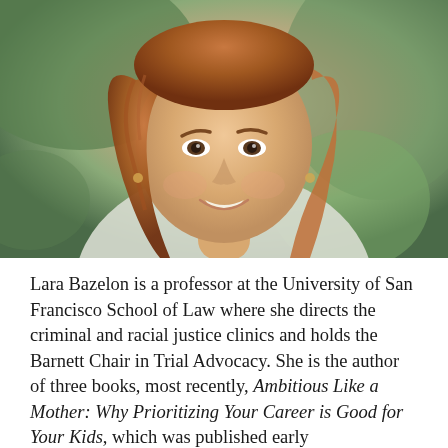[Figure (photo): Portrait photo of Lara Bazelon, a woman with auburn/reddish-brown wavy hair, smiling, wearing a light grey/white sleeveless knit top. Outdoor setting with blurred green background.]
Lara Bazelon is a professor at the University of San Francisco School of Law where she directs the criminal and racial justice clinics and holds the Barnett Chair in Trial Advocacy. She is the author of three books, most recently, Ambitious Like a Mother: Why Prioritizing Your Career is Good for Your Kids, which was published early